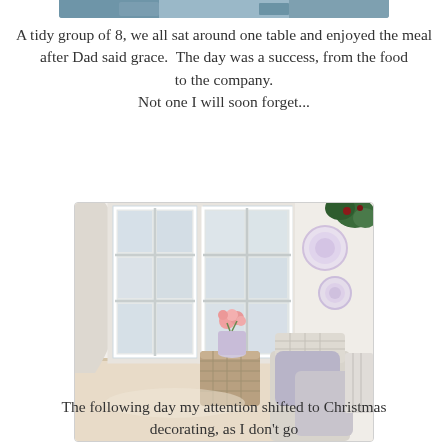[Figure (photo): Partial view of a photo at the top of the page showing what appears to be a person or gathering scene, only the bottom edge is visible.]
A tidy group of 8, we all sat around one table and enjoyed the meal
after Dad said grace.  The day was a success, from the food to the company.
Not one I will soon forget...
[Figure (photo): Interior room photo showing white French doors with glass panes, decorative purple/lavender plates mounted on the wall, a wicker side table with pink flowers in a vase, a cane chair with lavender/gray pillows, and greenery decoration.]
The following day my attention shifted to Christmas decorating, as I don't go